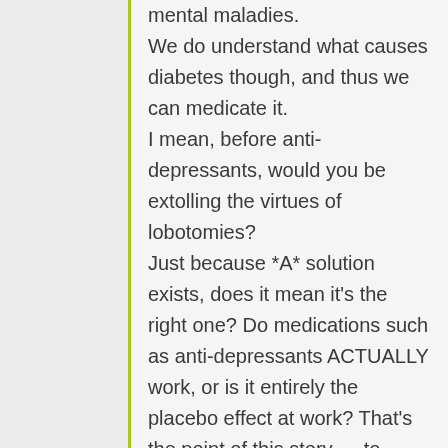mental maladies. We do understand what causes diabetes though, and thus we can medicate it. I mean, before anti-depressants, would you be extolling the virtues of lobotomies? Just because *A* solution exists, does it mean it's the right one? Do medications such as anti-depressants ACTUALLY work, or is it entirely the placebo effect at work? That's the point of this story — to make us